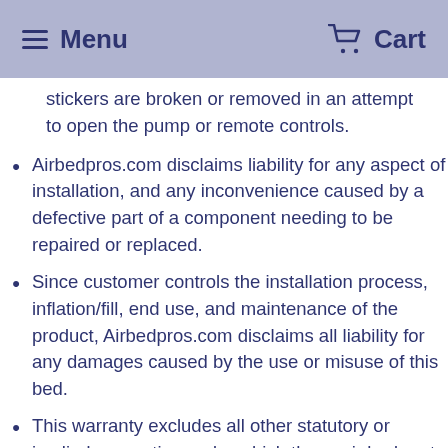Menu  Cart
stickers are broken or removed in an attempt to open the pump or remote controls.
Airbedpros.com disclaims liability for any aspect of installation, and any inconvenience caused by a defective part of a component needing to be repaired or replaced.
Since customer controls the installation process, inflation/fill, end use, and maintenance of the product, Airbedpros.com disclaims all liability for any damages caused by the use or misuse of this bed.
This warranty excludes all other statutory or implied warranties under which these air bed parts are sold.
This warranty gives the original purchaser specific legal rights. The original purchaser also has implied warranty rights. In the event of a problem with warranty service or performance, the original purchaser may be able to go to small claims court, a State/Provincial court, or Federal